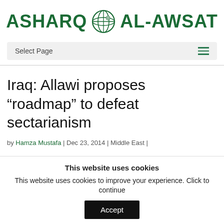[Figure (logo): Asharq Al-Awsat newspaper logo with globe icon and green text]
Select Page
Iraq: Allawi proposes “roadmap” to defeat sectarianism
by Hamza Mustafa | Dec 23, 2014 | Middle East |
This website uses cookies
This website uses cookies to improve your experience. Click to continue
Accept